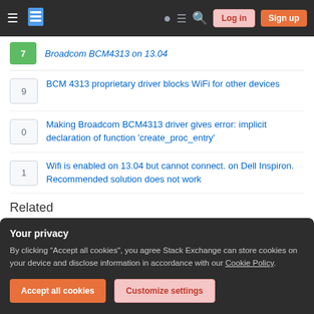Stack Exchange navigation bar with hamburger menu, logo, help, chat, search icons, Log in and Sign up buttons
Broadcom BCM4313 on 13.04 [truncated]
BCM 4313 proprietary driver blocks WiFi for other devices
Making Broadcom BCM4313 driver gives error: implicit declaration of function 'create_proc_entry'
Wifi is enabled on 13.04 but cannot connect. on Dell Inspiron. Recommended solution does not work
Related
Can't get wireless on macbook pro 8,2
Help with wireless internet drivers
Your privacy
By clicking "Accept all cookies", you agree Stack Exchange can store cookies on your device and disclose information in accordance with our Cookie Policy.
Accept all cookies | Customize settings